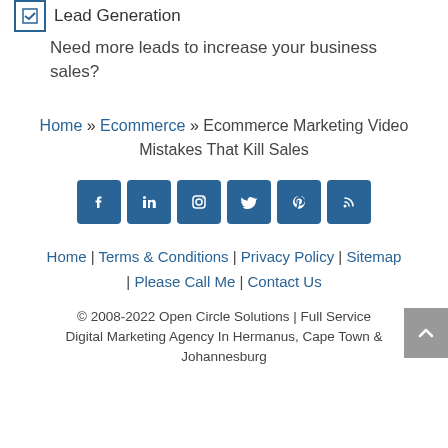Lead Generation
Need more leads to increase your business sales?
Home » Ecommerce » Ecommerce Marketing Video Mistakes That Kill Sales
[Figure (infographic): Row of 6 social media icon buttons: Facebook, LinkedIn, Instagram, Twitter, Pinterest, RSS feed — white icons on blue square backgrounds]
Home | Terms & Conditions | Privacy Policy | Sitemap | Please Call Me | Contact Us
© 2008-2022 Open Circle Solutions | Full Service Digital Marketing Agency In Hermanus, Cape Town & Johannesburg